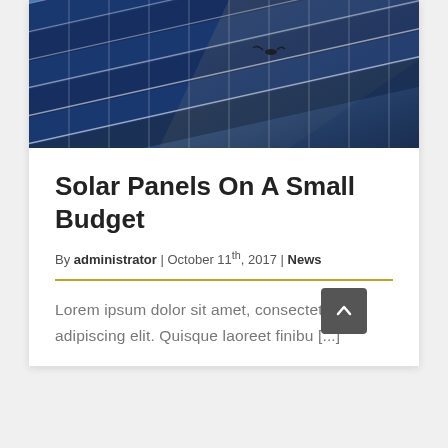[Figure (photo): Aerial/angled view of blue solar panels installed in rows, with white grid lines visible on the panel surfaces]
Solar Panels On A Small Budget
By administrator | October 11th, 2017 | News
Lorem ipsum dolor sit amet, consectetur adipiscing elit. Quisque laoreet finibu [...]